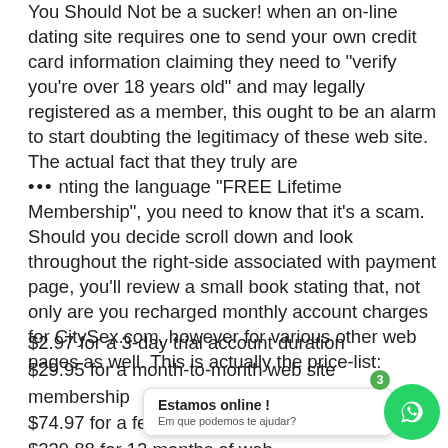You Should Not be a sucker! when an on-line dating site requires one to send your own credit card information claiming they need to "verify you're over 18 years old" and may legally registered as a member, this ought to be an alarm to start doubting the legitimacy of these web site. The actual fact that they truly are ... nting the language "FREE Lifetime Membership", you need to know that it's a scam. Should you decide scroll down and look throughout the right-side associated with payment page, you'll review a small book stating that, not only are you recharged monthly account charges for CitySex.com, however for various other web pages as well. This is actually the price-list:
$2.97 for a 3-day trial account duration
$29.95 for a month-to-month web site membership
$74.97 for a few months of we...
$239.88 for 12 months of web...
[Figure (other): WhatsApp chat widget overlay with 'Estamos online!' message and 'Em que podemos te ajudar?' subtitle, with badge showing 3 and green WhatsApp button]